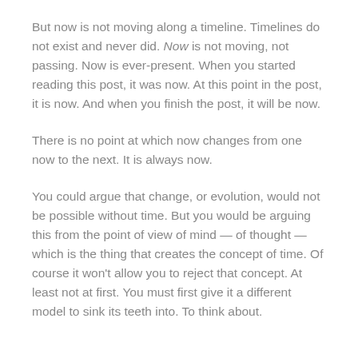But now is not moving along a timeline. Timelines do not exist and never did. Now is not moving, not passing. Now is ever-present. When you started reading this post, it was now. At this point in the post, it is now. And when you finish the post, it will be now.
There is no point at which now changes from one now to the next. It is always now.
You could argue that change, or evolution, would not be possible without time. But you would be arguing this from the point of view of mind — of thought — which is the thing that creates the concept of time. Of course it won't allow you to reject that concept. At least not at first. You must first give it a different model to sink its teeth into. To think about.